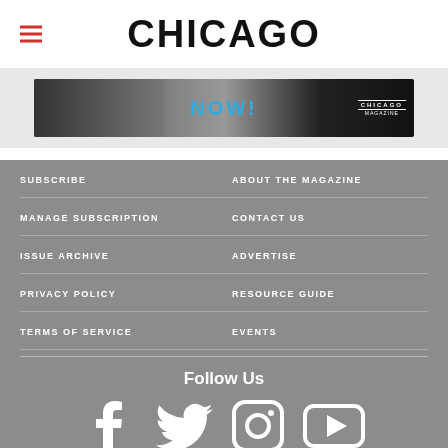CHICAGO
[Figure (photo): Chicago magazine subscription banner advertisement with text NOW! and CHICAGO MAGAZINE logo]
SUBSCRIBE
ABOUT THE MAGAZINE
MANAGE SUBSCRIPTION
CONTACT US
ISSUE ARCHIVE
ADVERTISE
PRIVACY POLICY
RESOURCE GUIDE
TERMS OF SERVICE
EVENTS
Follow Us
[Figure (infographic): Social media icons: Facebook, Twitter, Instagram, YouTube]